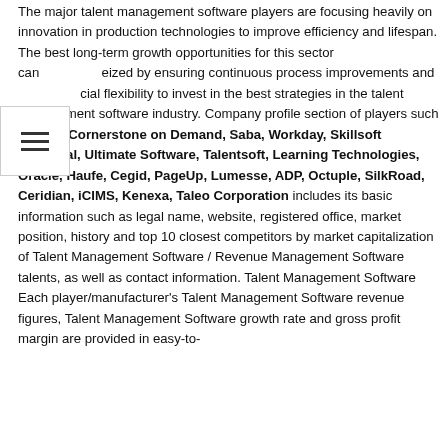The major talent management software players are focusing heavily on innovation in production technologies to improve efficiency and lifespan. The best long-term growth opportunities for this sector can be seized by ensuring continuous process improvements and financial flexibility to invest in the best strategies in the talent management software industry. Company profile section of players such as SAP, Cornerstone on Demand, Saba, Workday, Skillsoft SumTotal, Ultimate Software, Talentsoft, Learning Technologies, Oracle, Haufe, Cegid, PageUp, Lumesse, ADP, Octuple, SilkRoad, Ceridian, iCIMS, Kenexa, Taleo Corporation includes its basic information such as legal name, website, registered office, market position, history and top 10 closest competitors by market capitalization of Talent Management Software / Revenue Management Software talents, as well as contact information. Talent Management Software Each player/manufacturer's Talent Management Software revenue figures, Talent Management Software growth rate and gross profit margin are provided in easy-to-read tabular form for the best Revenue analysis perspectives.